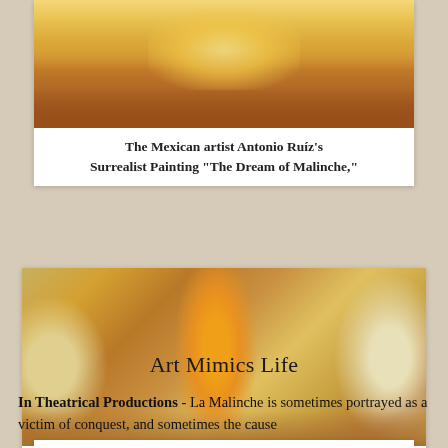[Figure (photo): Top portion of Antonio Ruiz's Surrealist painting 'The Dream of Malinche', showing warm golden and brown tones with draped figures]
The Mexican artist Antonio Ruiz's Surrealist Painting “The Dream of Malinche,”
[Figure (photo): Mural painting 'Malinche with Cortés' by Roberto Cueva del Río, showing Malinche in white embroidered dress, Cortés in armor with dramatic golden serpent shape, and Aztec figures with ceremonial shields on the right]
Malinche with Cortés: mural by Roberto Cueva del Río
Art Mimics Life
In Theatrical Productions -  La Malinche is sometimes portrayed as a victim of conquest, and sometimes the cause